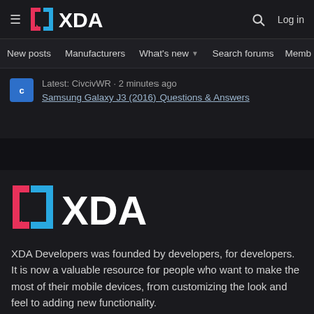XDA Developers navigation bar with hamburger menu, XDA logo, search icon, Log in
New posts | Manufacturers | What's new ▾ | Search forums | Membe >
Latest: CivcivWR · 2 minutes ago
Samsung Galaxy J3 (2016) Questions & Answers
[Figure (logo): XDA Developers logo in large size with pink and blue bracket icons and white XDA text]
XDA Developers was founded by developers, for developers. It is now a valuable resource for people who want to make the most of their mobile devices, from customizing the look and feel to adding new functionality.
Crafted by Audentio